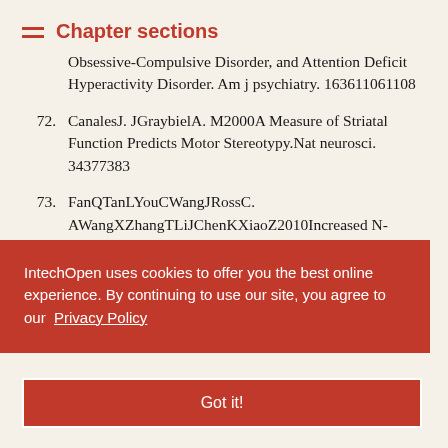Chapter sections
Obsessive-Compulsive Disorder, and Attention Deficit Hyperactivity Disorder. Am j psychiatry. 163611061108
72. CanalesJ. JGraybielA. M2000A Measure of Striatal Function Predicts Motor Stereotypy. Nat neurosci. 34377383
73. FanQTanLYouCWangJRossC. AWangXZhangTLiJChenKXiaoZ2010Increased N-Acetylaspartate/creatine Ratio ithe Medial Prefrontal Cortex Area: Unmedicated ...atients. ...o
...shiKMitoHKiriik... ntation of Select ...reatment-Refrac Obsessive-Compulsive DisorderIntn psychiatry cli...
IntechOpen uses cookies to offer you the best online experience. By continuing to use our site, you agree to our Privacy Policy
Got it!